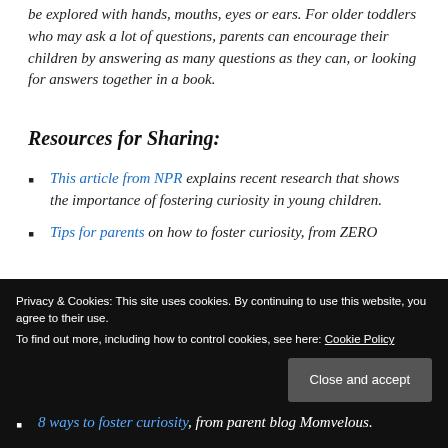be explored with hands, mouths, eyes or ears. For older toddlers who may ask a lot of questions, parents can encourage their children by answering as many questions as they can, or looking for answers together in a book.
Resources for Sharing:
This article from NPR explains recent research that shows the importance of fostering curiosity in young children.
Tips for parents on how to foster curiosity, from ZERO...
8 ways to foster curiosity, from parent blog Momvelous.
Privacy & Cookies: This site uses cookies. By continuing to use this website, you agree to their use. To find out more, including how to control cookies, see here: Cookie Policy